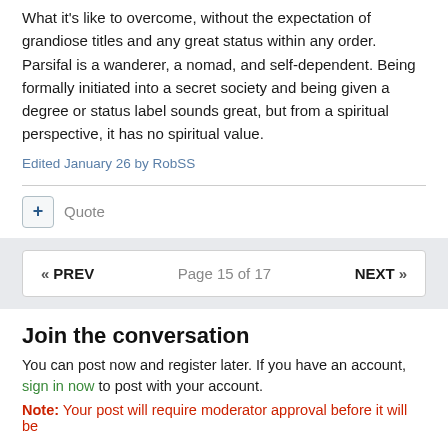What it's like to overcome, without the expectation of grandiose titles and any great status within any order. Parsifal is a wanderer, a nomad, and self-dependent. Being formally initiated into a secret society and being given a degree or status label sounds great, but from a spiritual perspective, it has no spiritual value.
Edited January 26 by RobSS
Quote
« PREV   Page 15 of 17   NEXT »
Join the conversation
You can post now and register later. If you have an account, sign in now to post with your account.
Note: Your post will require moderator approval before it will be